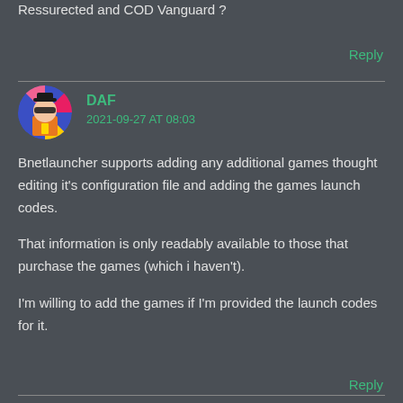Ressurected and COD Vanguard ?
Reply
DAF
2021-09-27 AT 08:03
Bnetlauncher supports adding any additional games thought editing it's configuration file and adding the games launch codes.
That information is only readably available to those that purchase the games (which i haven't).
I'm willing to add the games if I'm provided the launch codes for it.
Reply